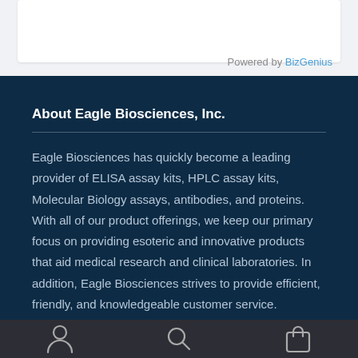Powered by BizGenius
About Eagle Biosciences, Inc.
Eagle Biosciences has quickly become a leading provider of ELISA assay kits, HPLC assay kits, Molecular Biology assays, antibodies, and proteins. With all of our product offerings, we keep our primary focus on providing esoteric and innovative products that aid medical research and clinical laboratories. In addition, Eagle Biosciences strives to provide efficient, friendly, and knowledgeable customer service.
[Figure (other): Mobile app bottom navigation bar with person icon, search icon, and shopping bag icon]